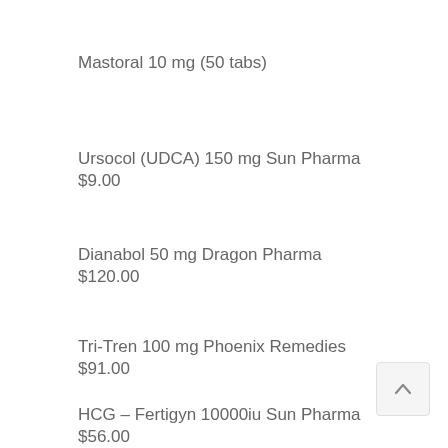Mastoral 10 mg (50 tabs)
Ursocol (UDCA) 150 mg Sun Pharma
$9.00
Dianabol 50 mg Dragon Pharma
$120.00
Tri-Tren 100 mg Phoenix Remedies
$91.00
HCG – Fertigyn 10000iu Sun Pharma
$56.00